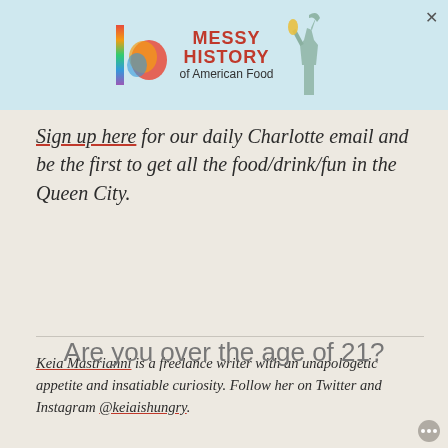[Figure (screenshot): Advertisement banner for 'Messy History of American Food' with colorful logo and Statue of Liberty graphic on light blue background]
Sign up here for our daily Charlotte email and be the first to get all the food/drink/fun in the Queen City.
Keia Mastrianni is a freelance writer with an unapologetic appetite and insatiable curiosity. Follow her on Twitter and Instagram @keiaishungry.
Are you over the age of 21?